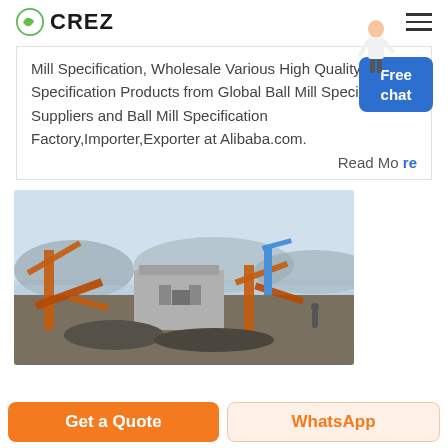CREZ
Mill Specification, Wholesale Various High Quality Ball Mill Specification Products from Global Ball Mill Specification Suppliers and Ball Mill Specification Factory,Importer,Exporter at Alibaba.com.
Read Mo...
[Figure (photo): Industrial plant/quarry site with heavy orange machinery, conveyor belts, and a grey metal building, mountains and water visible in background.]
Get a Quote
WhatsApp